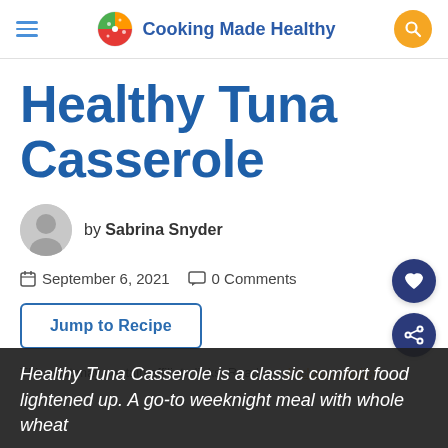Cooking Made Healthy
Healthy Tuna Casserole
by Sabrina Snyder
September 6, 2021   0 Comments
Jump to Recipe
This post may contain affiliate links. Read my disclosure policy.
Healthy Tuna Casserole is a classic comfort food lightened up. A go-to weeknight meal with whole wheat